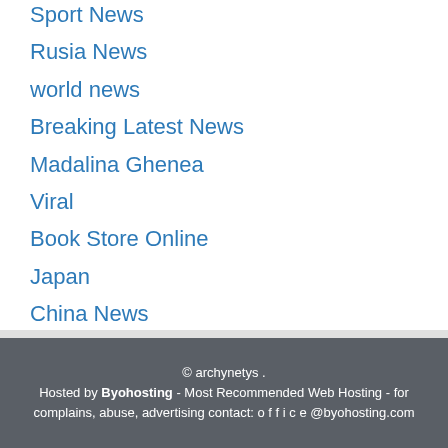Sport News
Rusia News
world news
Breaking Latest News
Madalina Ghenea
Viral
Book Store Online
Japan
China News
© archynetys . Hosted by Byohosting - Most Recommended Web Hosting - for complains, abuse, advertising contact: o f f i c e @byohosting.com